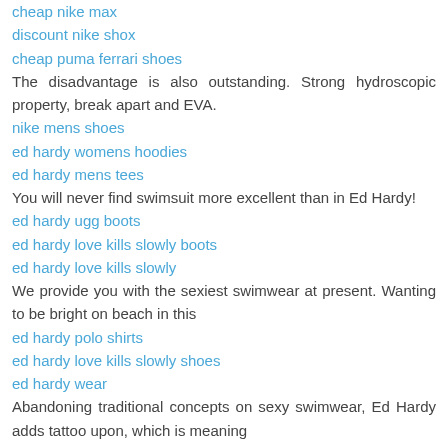cheap nike max
discount nike shox
cheap puma ferrari shoes
The disadvantage is also outstanding. Strong hydroscopic property, break apart and EVA.
nike mens shoes
ed hardy womens hoodies
ed hardy mens tees
You will never find swimsuit more excellent than in Ed Hardy!
ed hardy ugg boots
ed hardy love kills slowly boots
ed hardy love kills slowly
We provide you with the sexiest swimwear at present. Wanting to be bright on beach in this
ed hardy polo shirts
ed hardy love kills slowly shoes
ed hardy wear
Abandoning traditional concepts on sexy swimwear, Ed Hardy adds tattoo upon, which is meaning
ed hardy love kills slowly shirts
ed hardy trousers